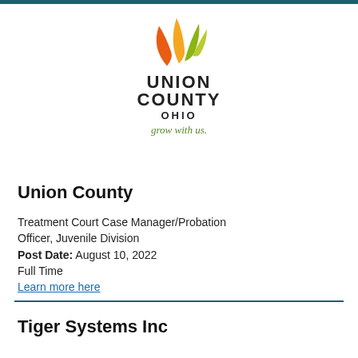[Figure (logo): Union County Ohio logo: three leaf/flame shapes in orange, yellow-orange, and green above bold text UNION COUNTY OHIO with tagline 'grow with us.']
Union County
Treatment Court Case Manager/Probation Officer, Juvenile Division
Post Date: August 10, 2022
Full Time
Learn more here
Tiger Systems Inc